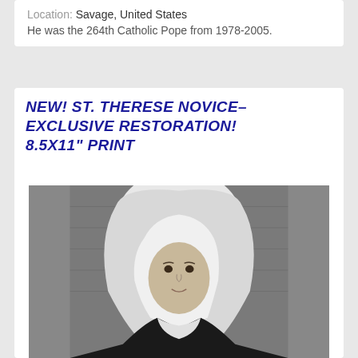Location: Savage, United States
He was the 264th Catholic Pope from 1978-2005.
NEW! ST. THERESE NOVICE–EXCLUSIVE RESTORATION! 8.5X11" PRINT
[Figure (photo): Black and white photograph of St. Therese as a novice, wearing a white nun's habit/veil and dark habit, looking directly at the camera with a slight smile. The background shows a stone or brick wall, slightly out of focus.]